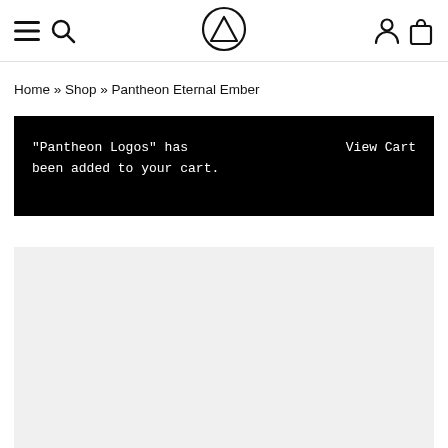Navigation bar with menu, search, logo (triangle symbol), account, and cart icons
Home » Shop » Pantheon Eternal Ember
"Pantheon Logos" has been added to your cart.    View Cart
[Figure (photo): Light grey product image area (blank/loading)]